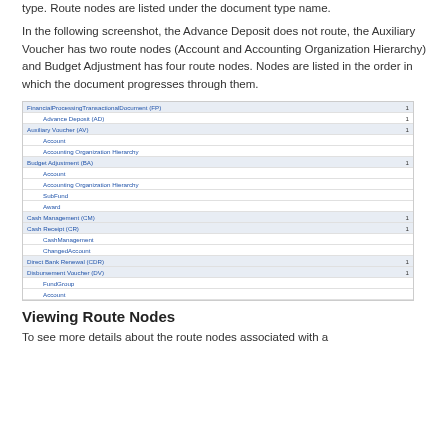type. Route nodes are listed under the document type name.
In the following screenshot, the Advance Deposit does not route, the Auxiliary Voucher has two route nodes (Account and Accounting Organization Hierarchy) and Budget Adjustment has four route nodes. Nodes are listed in the order in which the document progresses through them.
[Figure (screenshot): A screenshot of a financial processing transactions lookup interface showing document types and their route nodes. Includes: Financial Processing TransactionaDocument (FP), Advance Deposit (AD), Auxiliary Voucher (AV) with Account and Accounting Organization Hierarchy nodes, Budget Adjustment (BA) with Account, Accounting Organization Hierarchy, SubFund, and Award nodes, Cash Management (CM), Cash Receipt (CR) with CashManagement and ChangedAccount nodes, Direct Bank Renewal (CDR), Disbursement Voucher (DV) with FundGroup and Account nodes.]
Viewing Route Nodes
To see more details about the route nodes associated with a